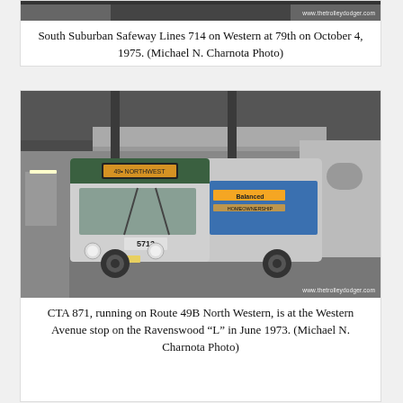[Figure (photo): Top portion of a bus photo (South Suburban Safeway Lines 714) — only the bottom strip visible at top of page]
South Suburban Safeway Lines 714 on Western at 79th on October 4, 1975. (Michael N. Charnota Photo)
[Figure (photo): CTA bus number 5712 running Route 49B North Western at the Western Avenue Ravenswood L stop, photographed in June 1973. Black and white / color photo of a green and silver CTA bus parked under elevated train structure.]
CTA 871, running on Route 49B North Western, is at the Western Avenue stop on the Ravenswood “L” in June 1973. (Michael N. Charnota Photo)